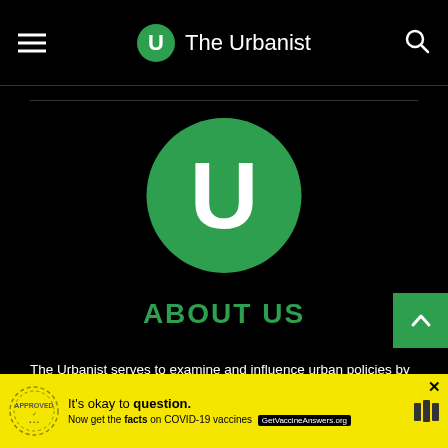The Urbanist
[Figure (logo): The Urbanist large green circle logo with white U letter]
ABOUT US
The Urbanist serves to examine and influence urban policies by
[Figure (other): COVID-19 vaccine advertisement banner: It's okay to question. Now get the facts on COVID-19 vaccines. GetVaccineAnswers.org]